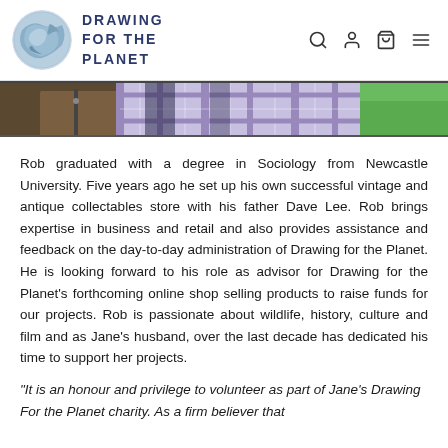DRAWING FOR THE PLANET
[Figure (photo): Cropped photo showing torso/waist area of people outdoors, with green grass visible on the right side]
Rob graduated with a degree in Sociology from Newcastle University. Five years ago he set up his own successful vintage and antique collectables store with his father Dave Lee. Rob brings expertise in business and retail and also provides assistance and feedback on the day-to-day administration of Drawing for the Planet. He is looking forward to his role as advisor for Drawing for the Planet's forthcoming online shop selling products to raise funds for our projects. Rob is passionate about wildlife, history, culture and film and as Jane's husband, over the last decade has dedicated his time to support her projects.
"It is an honour and privilege to volunteer as part of Jane's Drawing For the Planet charity. As a firm believer that